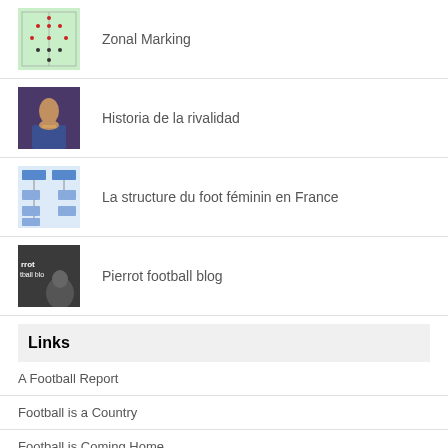Zonal Marking
Historia de la rivalidad
La structure du foot féminin en France
Pierrot football blog
Links
A Football Report
Football is a Country
Football is Coming Home